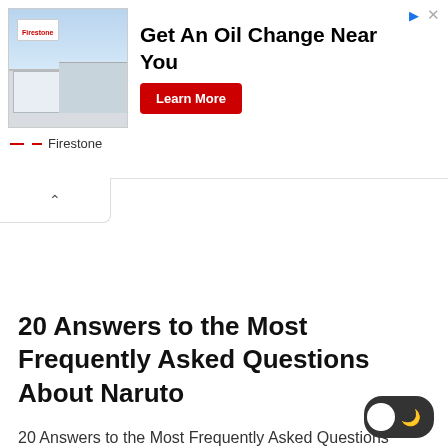[Figure (screenshot): Firestone advertisement banner showing a store building image with text 'Get An Oil Change Near You' and a red 'Learn More' button, with Firestone branding at the bottom.]
20 Answers to the Most Frequently Asked Questions About Naruto
20 Answers to the Most Frequently Asked Questions About Naruto Naruto Fans are Growing Day by Day in the World of Animes. All Fans are… Read More »